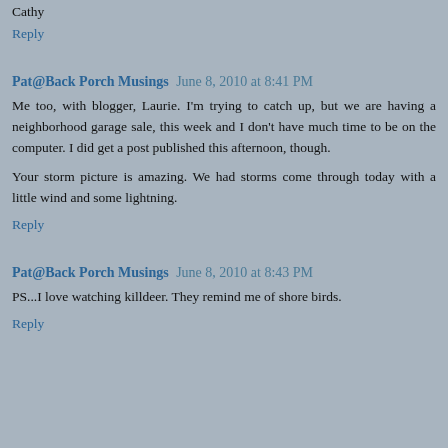Cathy
Reply
Pat@Back Porch Musings June 8, 2010 at 8:41 PM
Me too, with blogger, Laurie. I'm trying to catch up, but we are having a neighborhood garage sale, this week and I don't have much time to be on the computer. I did get a post published this afternoon, though.
Your storm picture is amazing. We had storms come through today with a little wind and some lightning.
Reply
Pat@Back Porch Musings June 8, 2010 at 8:43 PM
PS...I love watching killdeer. They remind me of shore birds.
Reply